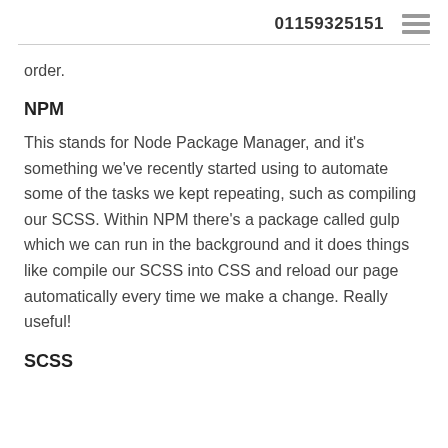01159325151
order.
NPM
This stands for Node Package Manager, and it's something we've recently started using to automate some of the tasks we kept repeating, such as compiling our SCSS. Within NPM there's a package called gulp which we can run in the background and it does things like compile our SCSS into CSS and reload our page automatically every time we make a change. Really useful!
SCSS